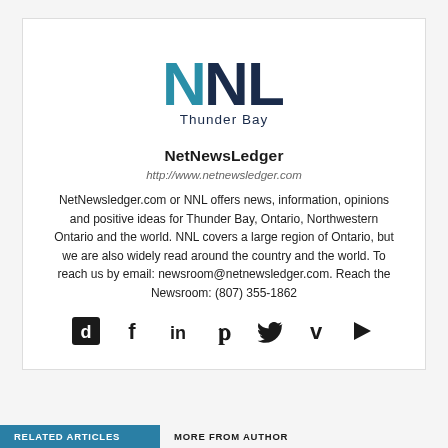[Figure (logo): NNL Thunder Bay logo with large stylized 'NNL' letters in teal and dark navy, and 'Thunder Bay' text below]
NetNewsLedger
http://www.netnewsledger.com
NetNewsledger.com or NNL offers news, information, opinions and positive ideas for Thunder Bay, Ontario, Northwestern Ontario and the world. NNL covers a large region of Ontario, but we are also widely read around the country and the world. To reach us by email: newsroom@netnewsledger.com. Reach the Newsroom: (807) 355-1862
[Figure (infographic): Row of 7 social media icons: Dailymotion (d), Facebook (f), LinkedIn (in), Pinterest (p), Twitter (bird), Vimeo (v), YouTube (play button)]
RELATED ARTICLES
MORE FROM AUTHOR